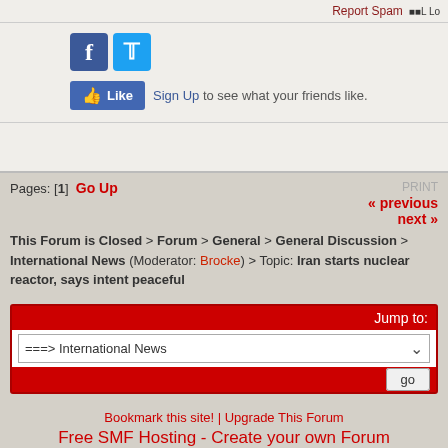Report Spam  Lo
[Figure (screenshot): Facebook and Twitter social share icons, and a Facebook Like button with Sign Up text]
Pages: [1]  Go Up
PRINT  « previous  next »
This Forum is Closed > Forum > General > General Discussion > International News (Moderator: Brocke) > Topic: Iran starts nuclear reactor, says intent peaceful
Jump to:  ===> International News  go
Bookmark this site! | Upgrade This Forum
Free SMF Hosting - Create your own Forum
Powered by SMF | SMF © 2016, Simple Machines
Privacy Policy
Page created in 0.064 seconds with 19 queries.